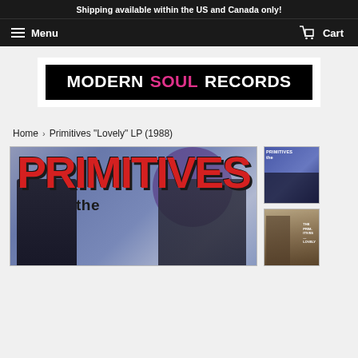Shipping available within the US and Canada only!
Menu   Cart
[Figure (logo): Modern Soul Records logo — black background with white text MODERN, pink/magenta text SOUL, white text RECORDS]
Home › Primitives "Lovely" LP (1988)
[Figure (photo): Album cover for The Primitives 'Lovely' LP (1988) — large red PRIMITIVES text with 'the' in black below, band members silhouetted against a blue-grey background]
[Figure (photo): Thumbnail of The Primitives album showing band members in blue-purple tones]
[Figure (photo): Thumbnail of The Primitives album showing a brick building exterior]